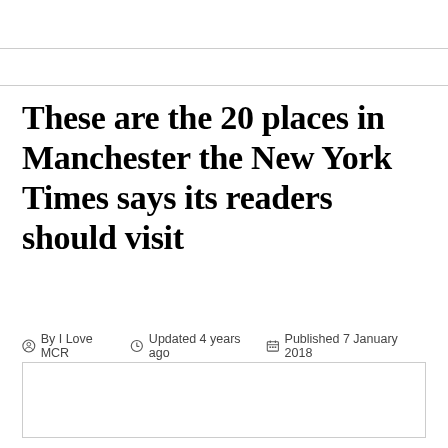These are the 20 places in Manchester the New York Times says its readers should visit
By I Love MCR   Updated 4 years ago   Published 7 January 2018
[Figure (photo): White placeholder image box]